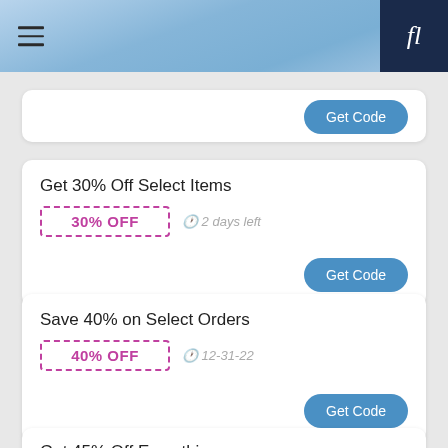Navigation header with hamburger menu and app icon
Get Code (partial card top)
Get 30% Off Select Items
30% OFF   2 days left
Get Code
Save 40% on Select Orders
40% OFF   12-31-22
Get Code
Get 45% Off Everything
45% OFF   09-30-22
Get Code